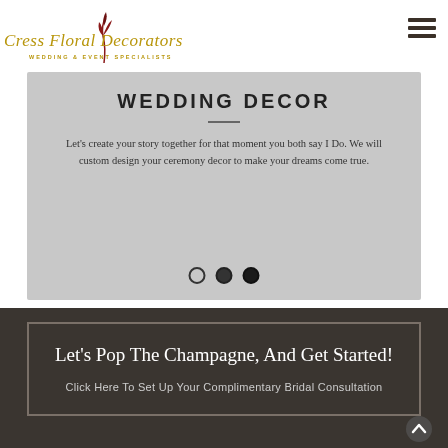[Figure (logo): Cress Floral Decorators logo with red floral icon, gold script text 'Cress Floral Decorators' and tagline 'WEDDING & EVENT SPECIALISTS']
WEDDING DECOR
Let's create your story together for that moment you both say I Do. We will custom design your ceremony decor to make your dreams come true.
Let's Pop The Champagne, And Get Started!
Click Here To Set Up Your Complimentary Bridal Consultation